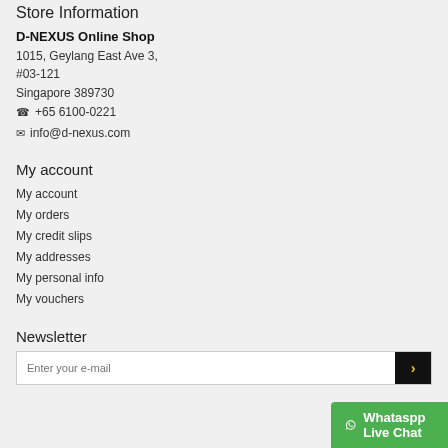Store Information
D-NEXUS Online Shop
1015, Geylang East Ave 3,
#03-121
Singapore 389730
☎ +65 6100-0221
✉ info@d-nexus.com
My account
My account
My orders
My credit slips
My addresses
My personal info
My vouchers
Newsletter
Enter your e-mail
Whataspp Live Chat